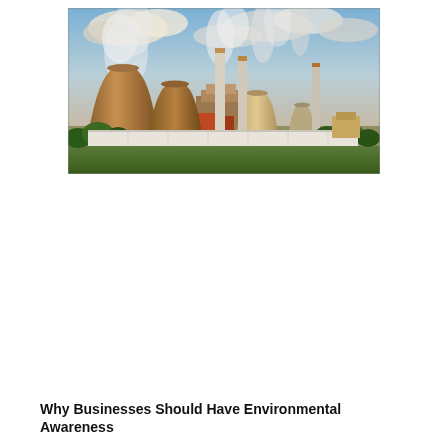[Figure (photo): Aerial view of a large industrial power plant with multiple cooling towers emitting steam and smoke against a dramatic cloudy sky at sunset. The large tan/brown cooling towers dominate the scene with tall white chimneys. Green trees and flat fields are visible in the foreground.]
Why Businesses Should Have Environmental Awareness